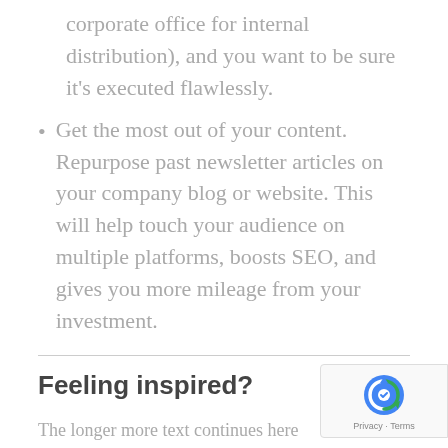corporate office for internal distribution), and you want to be sure it’s executed flawlessly.
Get the most out of your content. Repurpose past newsletter articles on your company blog or website. This will help touch your audience on multiple platforms, boosts SEO, and gives you more mileage from your investment.
Feeling inspired?
The longer more text continues here